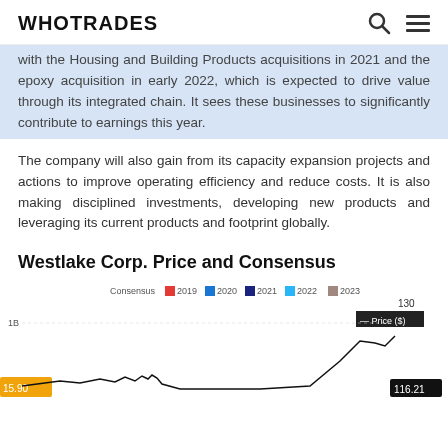WHOTRADES
with the Housing and Building Products acquisitions in 2021 and the epoxy acquisition in early 2022, which is expected to drive value through its integrated chain. It sees these businesses to significantly contribute to earnings this year.
The company will also gain from its capacity expansion projects and actions to improve operating efficiency and reduce costs. It is also making disciplined investments, developing new products and leveraging its current products and footprint globally.
Westlake Corp. Price and Consensus
[Figure (continuous-plot): Westlake Corp. Price and Consensus chart showing price line and consensus estimates for years 2019, 2020, 2021, 2022, 2023. Legend visible at top. Price shown at 116.21, y-axis showing 130. Bottom left shows value 15.90.]